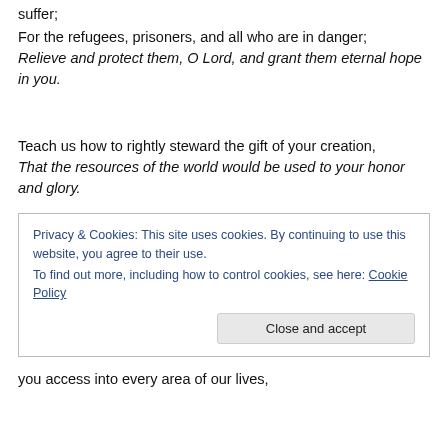suffer;
For the refugees, prisoners, and all who are in danger;
Relieve and protect them, O Lord, and grant them eternal hope in you.
Teach us how to rightly steward the gift of your creation,
That the resources of the world would be used to your honor and glory.
Privacy & Cookies: This site uses cookies. By continuing to use this website, you agree to their use.
To find out more, including how to control cookies, see here: Cookie Policy
Close and accept
you access into every area of our lives,